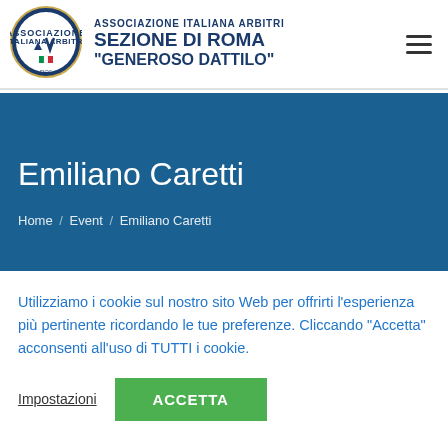[Figure (logo): AIA Associazione Italiana Arbitri circular logo with FIGC emblem]
ASSOCIAZIONE ITALIANA ARBITRI SEZIONE DI ROMA "GENEROSO DATTILO"
Emiliano Caretti
Home / Event / Emiliano Caretti
Utilizziamo i cookie sul nostro sito Web per offrirti l'esperienza più pertinente ricordando le tue preferenze. Cliccando "Accetta" acconsenti all'uso di TUTTI i cookie.
Impostazioni    ACCETTA